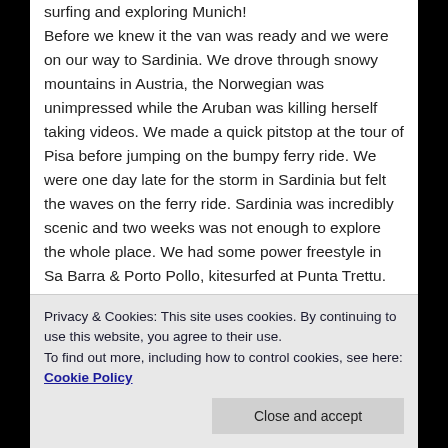surfing and exploring Munich! Before we knew it the van was ready and we were on our way to Sardinia. We drove through snowy mountains in Austria, the Norwegian was unimpressed while the Aruban was killing herself taking videos. We made a quick pitstop at the tour of Pisa before jumping on the bumpy ferry ride. We were one day late for the storm in Sardinia but felt the waves on the ferry ride. Sardinia was incredibly scenic and two weeks was not enough to explore the whole place. We had some power freestyle in Sa Barra & Porto Pollo, kitesurfed at Punta Trettu. Caught some waves at Funtana Meiga and Marina de la Rossa. The scenery was amazing on the windless days, and we suffered another van breakdown. All in all, it was a road
Privacy & Cookies: This site uses cookies. By continuing to use this website, you agree to their use. To find out more, including how to control cookies, see here: Cookie Policy
Close and accept